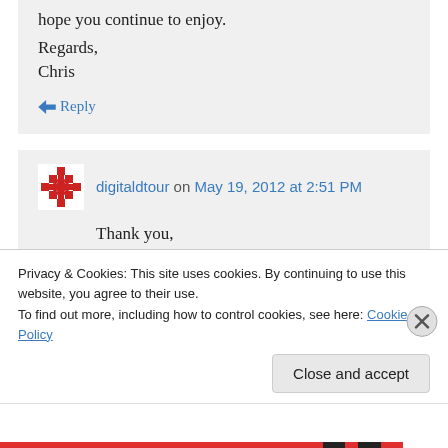hope you continue to enjoy.
Regards,
Chris
↪ Reply
digitaldtour on May 19, 2012 at 2:51 PM
Thank you,
I'm glad that you are finding my blogs content useful.
Privacy & Cookies: This site uses cookies. By continuing to use this website, you agree to their use.
To find out more, including how to control cookies, see here: Cookie Policy
Close and accept